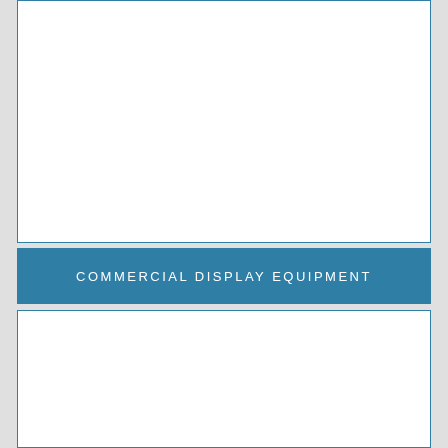[Figure (other): White rectangular panel with thin blue border, upper portion of page — content area (blank/image area)]
COMMERCIAL DISPLAY EQUIPMENT
[Figure (other): White rectangular panel with thin blue border, lower portion of page — content area (blank/image area)]